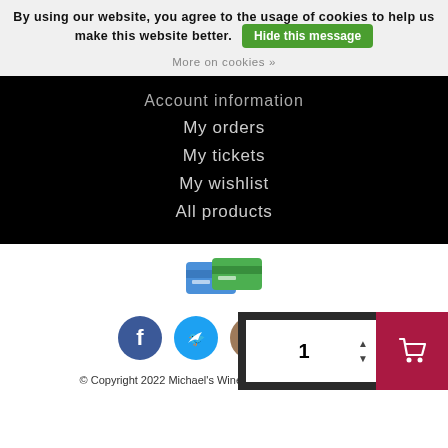By using our website, you agree to the usage of cookies to help us make this website better. Hide this message
More on cookies »
Account information
My orders
My tickets
My wishlist
All products
[Figure (illustration): Payment method icons (credit/debit cards)]
[Figure (illustration): Social media icons: Facebook, Twitter, Instagram, RSS]
© Copyright 2022 Michael's Wine - Lightspeed - Theme by D